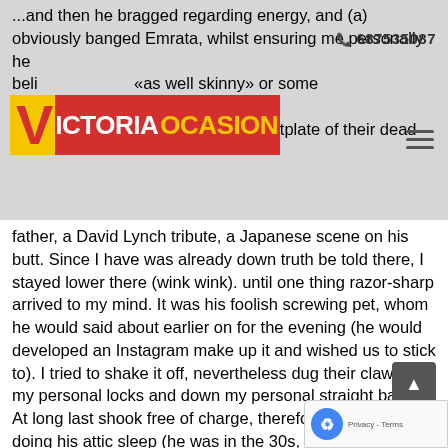...and then he bragged regarding energy, and (a) obviously banged Emrata, whilst ensuring me personally he believes is «as well skinny» or some BS...began making . He demonstrated me their tattoosa chestplate of their dead father, a David Lynch tribute, a Japanese scene on his butt.
[Figure (logo): VictoriaOcasion logo - red background with yellow V and white ICTORIA text and yellow OCASION text]
Since I have was already down truth be told there, I stayed lower there (wink wink). until one thing razor-sharp arrived to my mind. It was his foolish screwing pet, whom he would said about earlier on for the evening (he would developed an Instagram make up it and wished us to stick to). I tried to shake it off, nevertheless dug their claws into my personal locks and down my personal straight back. At long last shook free of charge, therefore we relocated doing his attic sleep (he was in the 30s, btw) and tried to resume, nevertheless cat then followed united states up around. I was having (extra) problems respiration, and visited the bathroom to rec from a full-blown symptoms of asthma assault from d cat. I'd bloodshot yellow eyes and a splotchy face. «Chi